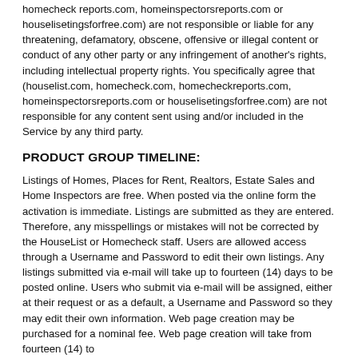homecheck reports.com, homeinspectorsreports.com or houselisetingsforfree.com) are not responsible or liable for any threatening, defamatory, obscene, offensive or illegal content or conduct of any other party or any infringement of another's rights, including intellectual property rights. You specifically agree that (houselist.com, homecheck.com, homecheckreports.com, homeinspectorsreports.com or houselisetingsforfree.com) are not responsible for any content sent using and/or included in the Service by any third party.
PRODUCT GROUP TIMELINE:
Listings of Homes, Places for Rent, Realtors, Estate Sales and Home Inspectors are free. When posted via the online form the activation is immediate. Listings are submitted as they are entered. Therefore, any misspellings or mistakes will not be corrected by the HouseList or Homecheck staff. Users are allowed access through a Username and Password to edit their own listings. Any listings submitted via e-mail will take up to fourteen (14) days to be posted online. Users who submit via e-mail will be assigned, either at their request or as a default, a Username and Password so they may edit their own information. Web page creation may be purchased for a nominal fee. Web page creation will take from fourteen (14) to